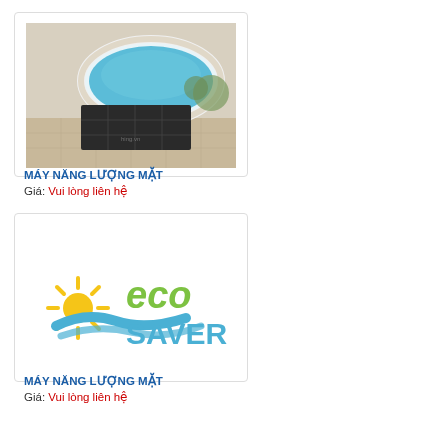[Figure (photo): Swimming pool with solar heating panels on the side, aerial view]
MÁY NĂNG LƯỢNG MẶT
Giá: Vui lòng liên hệ
[Figure (logo): Eco Saver logo with sun and water waves graphic]
MÁY NĂNG LƯỢNG MẶT
Giá: Vui lòng liên hệ